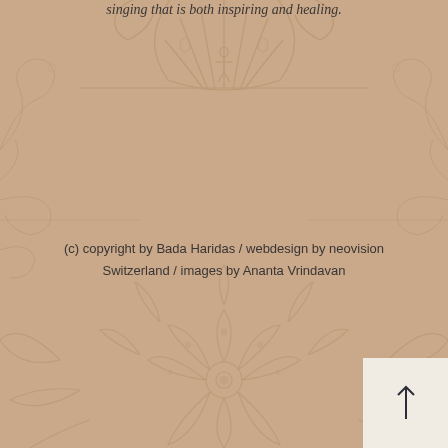singing that is both inspiring and healing.
[Figure (illustration): Decorative mandala and floral ornamental background pattern in muted tan/brown tones]
(c) copyright by Bada Haridas / webdesign by neovision Switzerland / images by Ananta Vrindavan